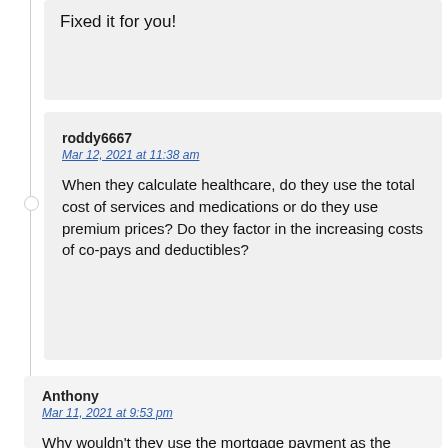Fixed it for you!
roddy6667
Mar 12, 2021 at 11:38 am

When they calculate healthcare, do they use the total cost of services and medications or do they use premium prices? Do they factor in the increasing costs of co-pays and deductibles?
Anthony
Mar 11, 2021 at 9:53 pm

Why wouldn't they use the mortgage payment as the imputed rent? Ugh.